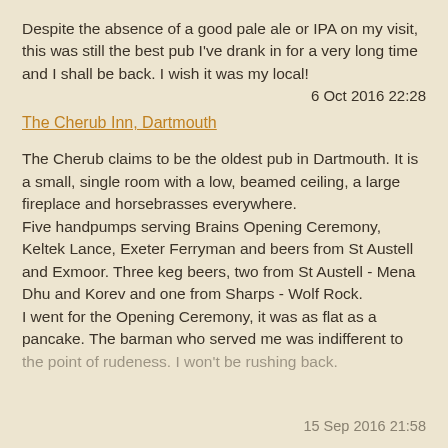Despite the absence of a good pale ale or IPA on my visit, this was still the best pub I've drank in for a very long time and I shall be back. I wish it was my local!
6 Oct 2016 22:28
The Cherub Inn, Dartmouth
The Cherub claims to be the oldest pub in Dartmouth. It is a small, single room with a low, beamed ceiling, a large fireplace and horsebrasses everywhere.
Five handpumps serving Brains Opening Ceremony, Keltek Lance, Exeter Ferryman and beers from St Austell and Exmoor. Three keg beers, two from St Austell - Mena Dhu and Korev and one from Sharps - Wolf Rock.
I went for the Opening Ceremony, it was as flat as a pancake. The barman who served me was indifferent to the point of rudeness. I won't be rushing back.
15 Sep 2016 21:58